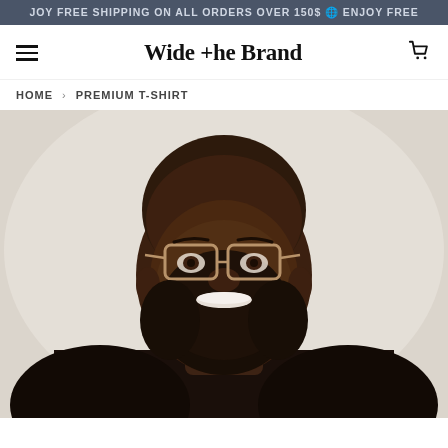ENJOY FREE SHIPPING ON ALL ORDERS OVER 150$ 🌐 ENJOY FREE
Wide the Brand
HOME › PREMIUM T-SHIRT
[Figure (photo): A smiling Black man with a full beard, wearing gold-framed glasses and a black long-sleeve t-shirt, photographed against a light gray/beige background.]